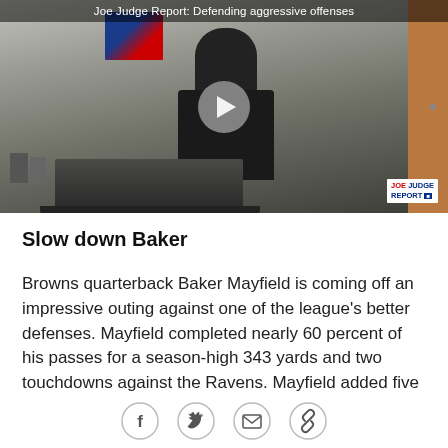[Figure (screenshot): Video thumbnail showing a man in a dark shirt and cap standing in front of a wall with an NFL/Giants poster, behind a laptop. Title bar reads 'Joe Judge Report: Defending aggressive offenses'. Play button overlay in center. 'JOE JUDGE REPORT' badge in bottom right corner.]
Slow down Baker
Browns quarterback Baker Mayfield is coming off an impressive outing against one of the league's better defenses. Mayfield completed nearly 60 percent of his passes for a season-high 343 yards and two touchdowns against the Ravens. Mayfield added five
[Figure (other): Social sharing bar with four circular icon buttons: Facebook (f), Twitter (bird), Email (envelope), Link/chain icon]